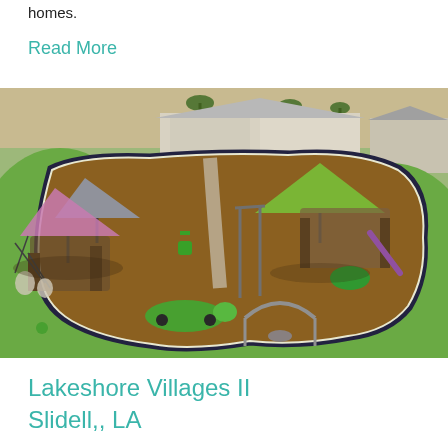homes.
Read More
[Figure (photo): Aerial view of a playground with rubber mulch surface surrounded by green grass. Features a purple canopy, gray canopy, green canopy, various play structures, climbing equipment, a green crocodile ride-on toy, and a community building with metal roof in the background. The playground surface is bounded by a dark border with white edge.]
Lakeshore Villages II
Slidell,, LA